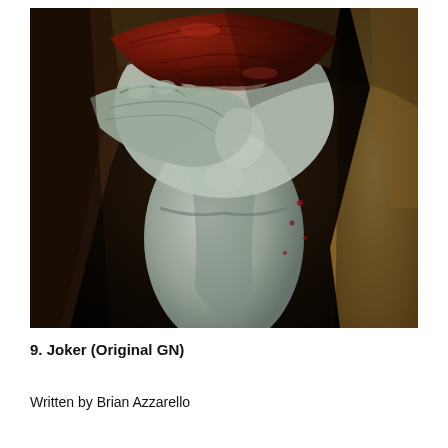[Figure (illustration): Close-up painted illustration of the Joker character showing his face/mouth with cracked smile, pale white skin, and distorted features. Dark, gritty, realistic comic book art style.]
9. Joker (Original GN)
Written by Brian Azzarello